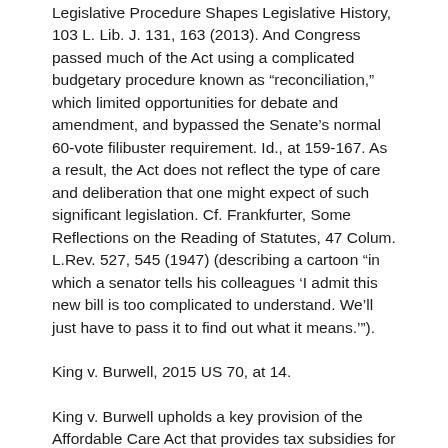Legislative Procedure Shapes Legislative History, 103 L. Lib. J. 131, 163 (2013). And Congress passed much of the Act using a complicated budgetary procedure known as “reconciliation,” which limited opportunities for debate and amendment, and bypassed the Senate’s normal 60-vote filibuster requirement. Id., at 159-167. As a result, the Act does not reflect the type of care and deliberation that one might expect of such significant legislation. Cf. Frankfurter, Some Reflections on the Reading of Statutes, 47 Colum. L.Rev. 527, 545 (1947) (describing a cartoon “in which a senator tells his colleagues ‘I admit this new bill is too complicated to understand. We’ll just have to pass it to find out what it means.’”).
King v. Burwell, 2015 US 70, at 14.
King v. Burwell upholds a key provision of the Affordable Care Act that provides tax subsidies for the purchase of health insurance in all 50 states.